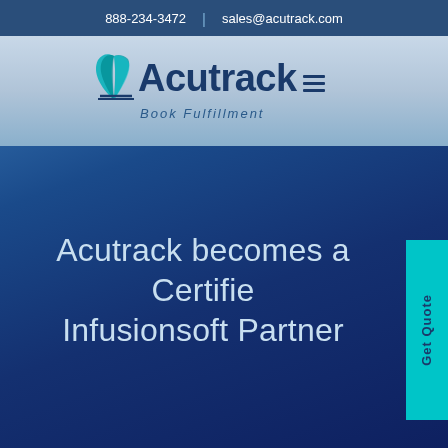888-234-3472  |  sales@acutrack.com
[Figure (logo): Acutrack Book Fulfillment logo with teal leaf graphic and dark blue text, with hamburger menu icon]
Acutrack becomes a Certified Infusionsoft Partner
Get Quote